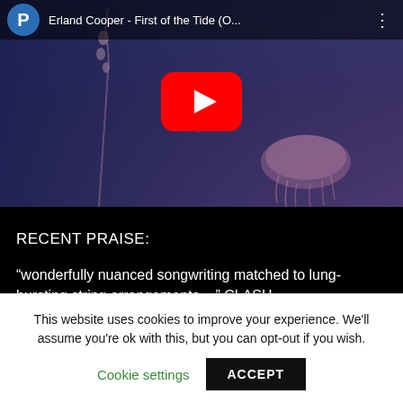[Figure (screenshot): YouTube video embed showing 'Erland Cooper - First of the Tide (O...' with a play button over a dark blue underwater scene featuring a jellyfish and plant]
RECENT PRAISE:
“wonderfully nuanced songwriting matched to lung-bursting string arrangements ...” CLASH
This website uses cookies to improve your experience. We'll assume you're ok with this, but you can opt-out if you wish.
Cookie settings  ACCEPT